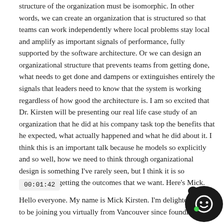structure of the organization must be isomorphic. In other words, we can create an organization that is structured so that teams can work independently where local problems stay local and amplify as important signals of performance, fully supported by the software architecture. Or we can design an organizational structure that prevents teams from getting done, what needs to get done and dampens or extinguishes entirely the signals that leaders need to know that the system is working regardless of how good the architecture is. I am so excited that Dr. Kirsten will be presenting our real life case study of an organization that he did at his company task top the benefits that he expected, what actually happened and what he did about it. I think this is an important talk because he models so explicitly and so well, how we need to think through organizational design is something I've rarely seen, but I think it is so important to getting the outcomes that we want. Here's Mick.
00:01:42
Hello everyone. My name is Mick Kirsten. I'm delighted to be joining you virtually from Vancouver since founding
[Figure (logo): Dark circular logo with a white chat/smile icon and a green dot]